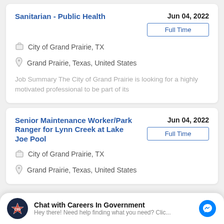Sanitarian - Public Health
Jun 04, 2022
Full Time
City of Grand Prairie, TX
Grand Prairie, Texas, United States
Job Summary The City of Grand Prairie is looking for a highly motivated professional to be part of its
Senior Maintenance Worker/Park Ranger for Lynn Creek at Lake Joe Pool
Jun 04, 2022
Full Time
City of Grand Prairie, TX
Grand Prairie, Texas, United States
Chat with Careers In Government
Hey there! Need help finding what you need? Clic...